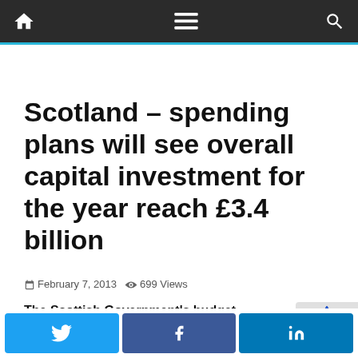Navigation bar with home, menu, and search icons
Scotland – spending plans will see overall capital investment for the year reach £3.4 billion
February 7, 2013  699 Views
The Scottish Government's budget proposal
Share buttons: Twitter, Facebook, LinkedIn